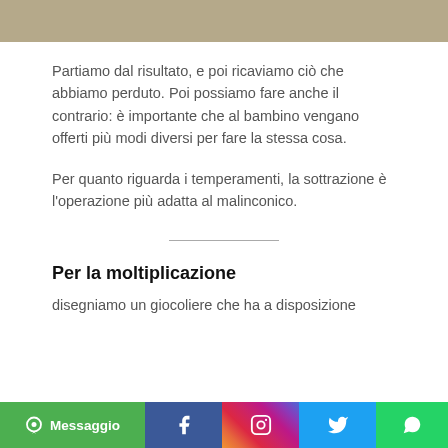[Figure (photo): Top portion of an image, partially visible - appears to be a brownish/tan colored background]
Partiamo dal risultato, e poi ricaviamo ciò che abbiamo perduto. Poi possiamo fare anche il contrario: è importante che al bambino vengano offerti più modi diversi per fare la stessa cosa.
Per quanto riguarda i temperamenti, la sottrazione è l'operazione più adatta al malinconico.
Per la moltiplicazione
disegniamo un giocoliere che ha a disposizione
[Figure (infographic): Social media footer bar with Messaggio, Facebook, Instagram, Twitter, and WhatsApp icons]